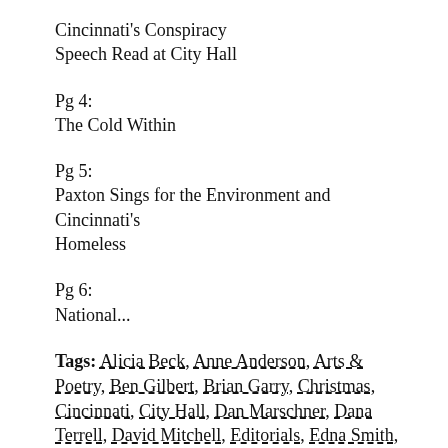Cincinnati's Conspiracy
Speech Read at City Hall
Pg 4:
The Cold Within
Pg 5:
Paxton Sings for the Environment and Cincinnati's Homeless
Pg 6:
National...
Tags: Alicia Beck, Anne Anderson, Arts & Poetry, Ben Gilbert, Brian Garry, Christmas, Cincinnati, City Hall, Dan Marschner, Dana Terrell, David Mitchell, Editorials, Edna Smith, H. Lee Bowen, James Blackmon Iyndigoh, John Perotti, Kim Renay Dumas, Lemuel Israel, Mary A. Gaffney, Mary Taylor, mental illness, Molly Lyons, Mr.